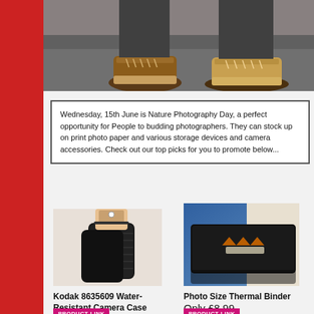[Figure (photo): Photo of person's feet wearing brown shoes/sneakers, standing on ground, cropped at top of page]
Wednesday, 15th June is Nature Photography Day, a perfect opportunity for People to budding photographers. They can stock up on print photo paper and various storage devices and camera accessories. Check out our top picks for you to promote below...
[Figure (photo): Kodak 8635609 Water-Resistant Camera Case - black padded camera case with packaging]
Kodak 8635609 Water-Resistant Camera Case
Only £2.99
[Figure (photo): Photo Size Thermal Binder - black binder/album product shown against blue background]
Photo Size Thermal Binder
Only £8.99